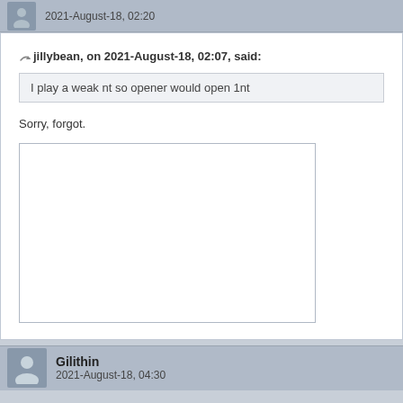2021-August-18, 02:20
jillybean, on 2021-August-18, 02:07, said:
I play a weak nt so opener would open 1nt
Sorry, forgot.
[Figure (other): Empty white content box]
Gilithin
2021-August-18, 04:30